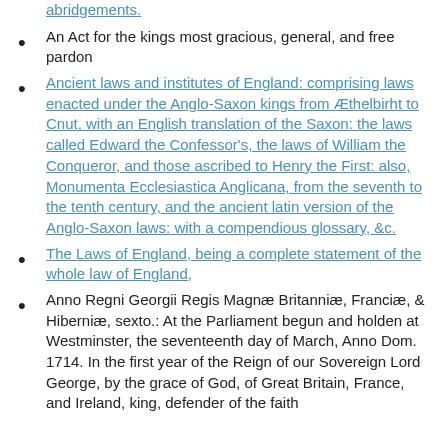abridgements.
An Act for the kings most gracious, general, and free pardon
Ancient laws and institutes of England: comprising laws enacted under the Anglo-Saxon kings from Æthelbirht to Cnut, with an English translation of the Saxon: the laws called Edward the Confessor's, the laws of William the Conqueror, and those ascribed to Henry the First: also, Monumenta Ecclesiastica Anglicana, from the seventh to the tenth century, and the ancient latin version of the Anglo-Saxon laws: with a compendious glossary, &c.
The Laws of England, being a complete statement of the whole law of England,
Anno Regni Georgii Regis Magnæ Britanniæ, Franciæ, & Hiberniæ, sexto.: At the Parliament begun and holden at Westminster, the seventeenth day of March, Anno Dom. 1714. In the first year of the Reign of our Sovereign Lord George, by the grace of God, of Great Britain, France, and Ireland, king, defender of the faith